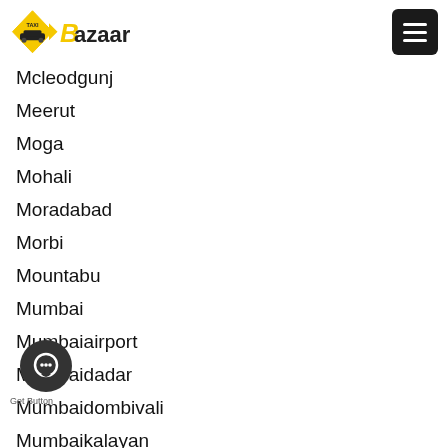Taxi Bazaar logo and navigation
Mcleodgunj
Meerut
Moga
Mohali
Moradabad
Morbi
Mountabu
Mumbai
Mumbaiairport
Mumbaidadar
Mumbaidombivali
Mumbaikalayan